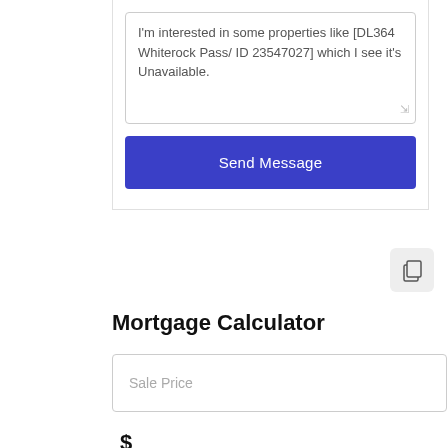I'm interested in some properties like [DL364 Whiterock Pass/ ID 23547027] which I see it's Unavailable.
Send Message
[Figure (other): Copy icon button — two overlapping document rectangles in gray]
Mortgage Calculator
Sale Price
$